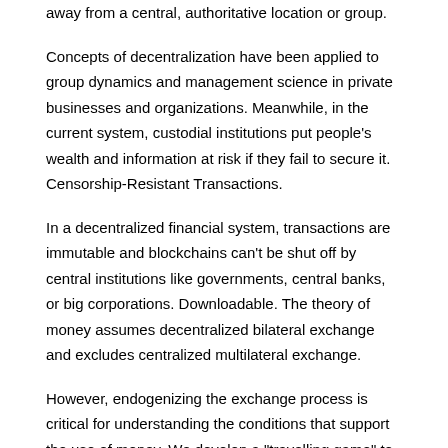away from a central, authoritative location or group.
Concepts of decentralization have been applied to group dynamics and management science in private businesses and organizations. Meanwhile, in the current system, custodial institutions put people’s wealth and information at risk if they fail to secure it. Censorship-Resistant Transactions.
In a decentralized financial system, transactions are immutable and blockchains can’t be shut off by central institutions like governments, central banks, or big corporations. Downloadable. The theory of money assumes decentralized bilateral exchange and excludes centralized multilateral exchange.
However, endogenizing the exchange process is critical for understanding the conditions that support the use of money. We develop a “travelling game” to study the spontaneous emergence of decentralized and centralized exchange, theoretically and experimentally.
Diego Leal, Bryan Stanhouse, Duane Stock, Estimating the term